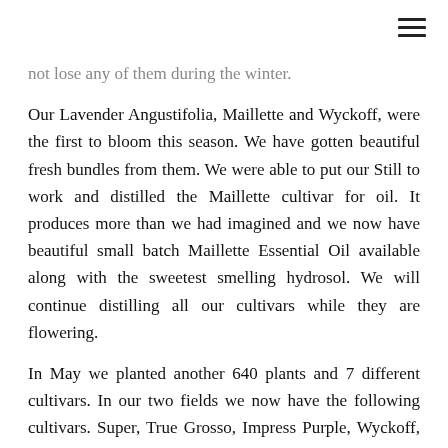not lose any of them during the winter.
Our Lavender Angustifolia, Maillette and Wyckoff, were the first to bloom this season. We have gotten beautiful fresh bundles from them. We were able to put our Still to work and distilled the Maillette cultivar for oil. It produces more than we had imagined and we now have beautiful small batch Maillette Essential Oil available along with the sweetest smelling hydrosol. We will continue distilling all our cultivars while they are flowering.
In May we planted another 640 plants and 7 different cultivars. In our two fields we now have the following cultivars. Super, True Grosso, Impress Purple, Wyckoff, Maillette, Hidcote Pink, Irene Doyle, Miss Katherine, Royal Velvet, Folgate, Amethyst, Hidcote Giant. We